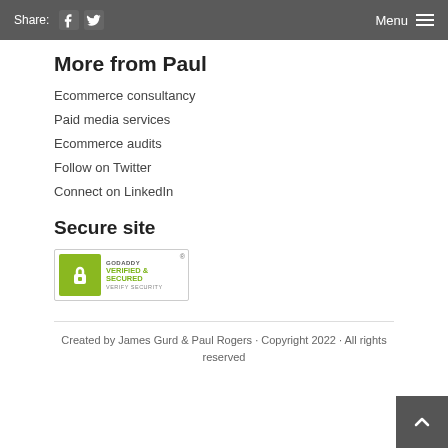Share: [Facebook] [Twitter]   Menu
More from Paul
Ecommerce consultancy
Paid media services
Ecommerce audits
Follow on Twitter
Connect on LinkedIn
Secure site
[Figure (logo): GoDaddy Verified & Secured badge with padlock icon and 'Verify Security' text]
Created by James Gurd & Paul Rogers · Copyright 2022 · All rights reserved